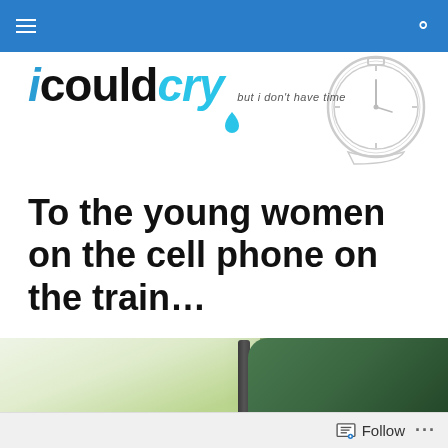Navigation bar with hamburger menu and search icon
[Figure (logo): icouldcry logo with tagline 'but i don't have time', blue teardrop, and pocket watch illustration]
To the young women on the cell phone on the train...
[Figure (photo): Photo of train seat and window view, green seat visible with blurred landscape outside]
Follow ...